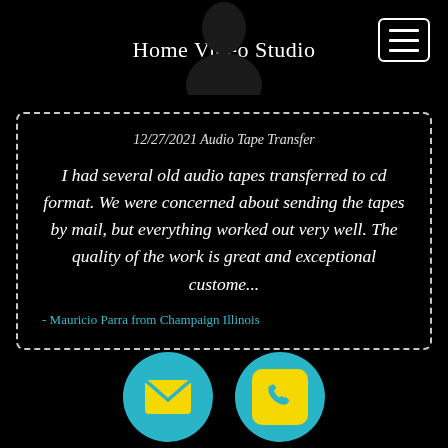Home Video Studio
12/27/2021 Audio Tape Transfer

I had several old audio tapes transferred to cd format. We were concerned about sending the tapes by mail, but everything worked out very well. The quality of the work is great and exceptional custome...

- Mauricio Parra from Champaign Illinois
[Figure (illustration): Two circular teal buttons at the bottom: one with a yellow envelope/mail icon, one with a yellow phone icon]